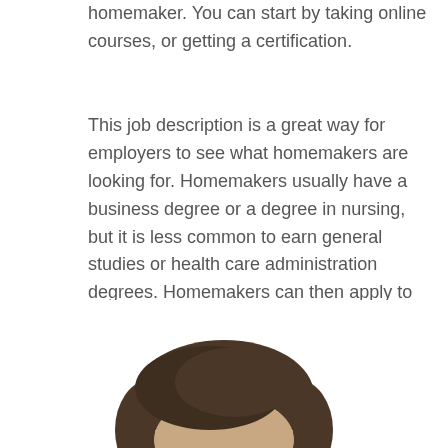homemaker. You can start by taking online courses, or getting a certification.
This job description is a great way for employers to see what homemakers are looking for. Homemakers usually have a business degree or a degree in nursing, but it is less common to earn general studies or health care administration degrees. Homemakers can then apply to jobs in health care facilities like Right At Home and Amedisys. Those companies have a variety of job openings, and a good deal of them are currently hiring....
[Figure (photo): Partial photo of a person's head and upper face, showing dark hair, visible from the top of the head, cropped at the bottom of the page.]